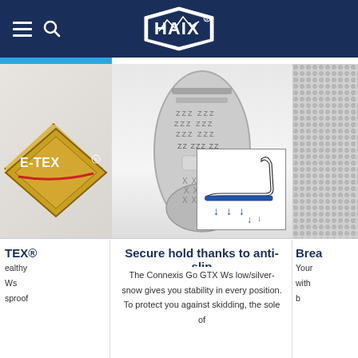HAIX® (logo)
[Figure (photo): GORE-TEX logo diamond badge shown on left column]
[Figure (photo): Bottom sole of a shoe showing tread pattern - Connexis Go GTX Ws low/silver-snow]
[Figure (illustration): Diagram showing anti-slip sole mechanism with blue downward arrows indicating stability/grip]
[Figure (photo): Close-up of breathable mesh fabric texture on right column]
TEX®
althy
Ws
sproof
Secure hold thanks to anti-slip
The Connexis Go GTX Ws low/silver-snow gives you stability in every position. To protect you against skidding, the sole of
Brea
Your
with
b